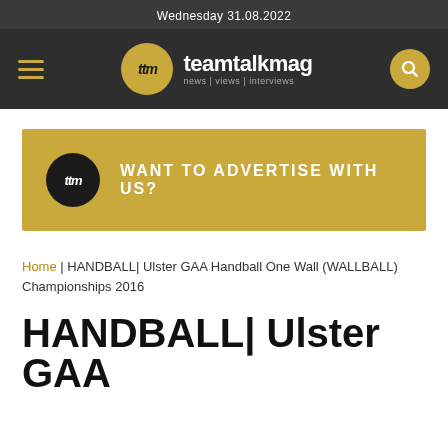Wednesday 31.08.2022
[Figure (logo): teamtalkmag logo with hamburger menu and search icon on dark navigation bar]
[Figure (infographic): Gold advertisement banner with TTM logo circle and text: WANT TO ADVERTISE WITH US?]
Home | HANDBALL| Ulster GAA Handball One Wall (WALLBALL) Championships 2016
HANDBALL| Ulster GAA